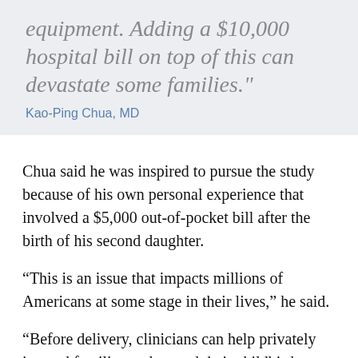equipment. Adding a $10,000 hospital bill on top of this can devastate some families."
Kao-Ping Chua, MD
Chua said he was inspired to pursue the study because of his own personal experience that involved a $5,000 out-of-pocket bill after the birth of his second daughter.
“This is an issue that impacts millions of Americans at some stage in their lives,” he said.
“Before delivery, clinicians can help privately insured families understand their childbirth benefits